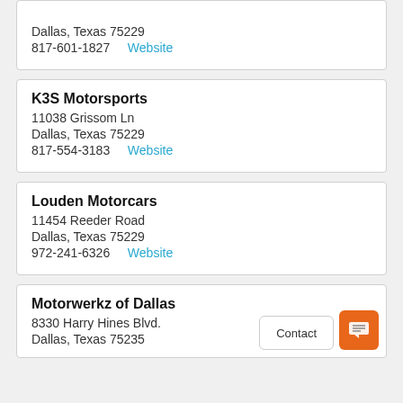Dallas, Texas 75229
817-601-1827   Website
K3S Motorsports
11038 Grissom Ln
Dallas, Texas 75229
817-554-3183   Website
Louden Motorcars
11454 Reeder Road
Dallas, Texas 75229
972-241-6326   Website
Motorwerkz of Dallas
8330 Harry Hines Blvd.
Dallas, Texas 75235